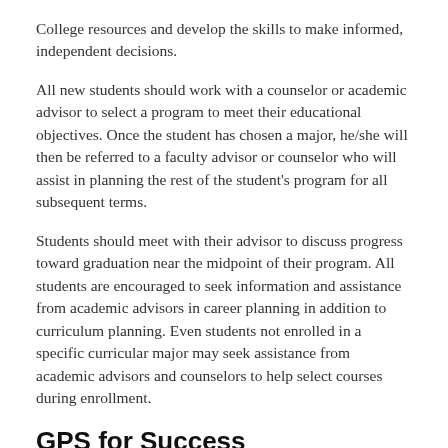College resources and develop the skills to make informed, independent decisions.
All new students should work with a counselor or academic advisor to select a program to meet their educational objectives. Once the student has chosen a major, he/she will then be referred to a faculty advisor or counselor who will assist in planning the rest of the student's program for all subsequent terms.
Students should meet with their advisor to discuss progress toward graduation near the midpoint of their program. All students are encouraged to seek information and assistance from academic advisors in career planning in addition to curriculum planning. Even students not enrolled in a specific curricular major may seek assistance from academic advisors and counselors to help select courses during enrollment.
GPS for Success
GPS for Success is a comprehensive advising experience specifically for recent high school graduates who have never been to college. The program aims to help students foster connections with professional advisors and faculty, while